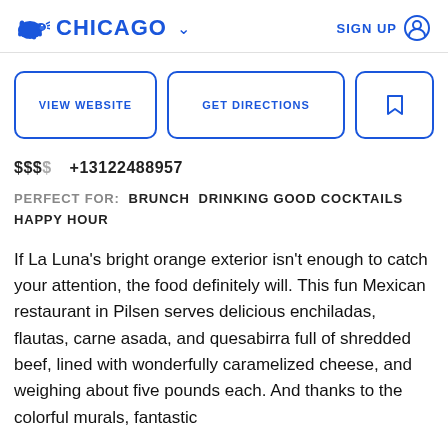CHICAGO  SIGN UP
VIEW WEBSITE   GET DIRECTIONS   [bookmark icon]
$$$$  +13122488957
PERFECT FOR:  BRUNCH  DRINKING GOOD COCKTAILS  HAPPY HOUR
If La Luna’s bright orange exterior isn’t enough to catch your attention, the food definitely will. This fun Mexican restaurant in Pilsen serves delicious enchiladas, flautas, carne asada, and quesabirra full of shredded beef, lined with wonderfully caramelized cheese, and weighing about five pounds each. And thanks to the colorful murals, fantastic